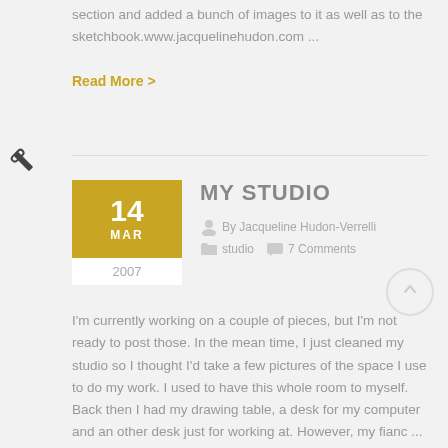section and added a bunch of images to it as well as to the sketchbook.www.jacquelinehudon.com ...
Read More >
MY STUDIO
By Jacqueline Hudon-Verrelli
studio   7 Comments
I'm currently working on a couple of pieces, but I'm not ready to post those. In the mean time, I just cleaned my studio so I thought I'd take a few pictures of the space I use to do my work. I used to have this whole room to myself. Back then I had my drawing table, a desk for my computer and an other desk just for working at. However, my fianc ...